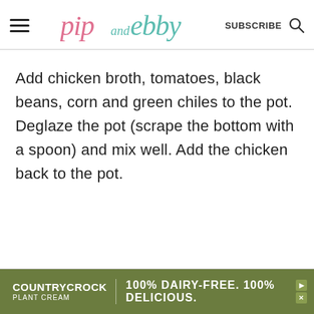pip and ebby — SUBSCRIBE
Add chicken broth, tomatoes, black beans, corn and green chiles to the pot. Deglaze the pot (scrape the bottom with a spoon) and mix well. Add the chicken back to the pot.
[Figure (other): Country Crock Plant Cream advertisement banner: '100% DAIRY-FREE. 100% DELICIOUS.']